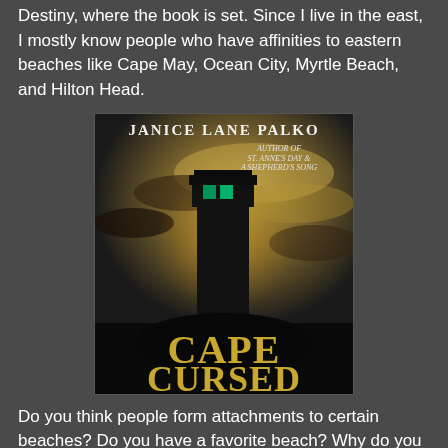Destiny, where the book is set. Since I live in the east, I mostly know people who have affinities to eastern beaches like Cape May, Ocean City, Myrtle Beach, and Hilton Head.
[Figure (illustration): Book cover for 'Cape Cursed' by Janice Lane Palko. Shows a dark lighthouse silhouette against a dramatic cloudy sky, with the title 'CAPE CURSED' in large golden serif letters at the bottom. Text at top reads 'JANICE LANE PALKO' and 'Author of St. Anne's Day & A Shepherd's Song'.]
Do you think people form attachments to certain beaches? Do you have a favorite beach? Why do you think you like